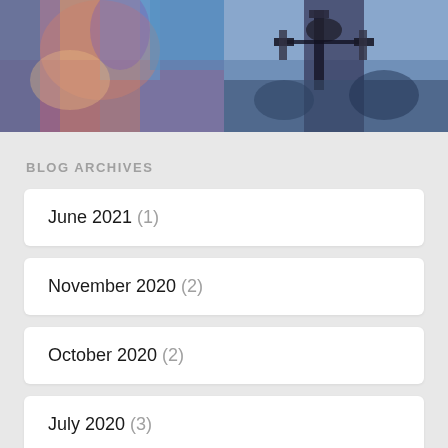[Figure (photo): Two photos side by side: left shows colorful graffiti/mural artwork in blue, pink, and orange tones; right shows a bicycle handlebar with equipment against a blue/dark background.]
BLOG ARCHIVES
June 2021 (1)
November 2020 (2)
October 2020 (2)
July 2020 (3)
May 2020 (1)